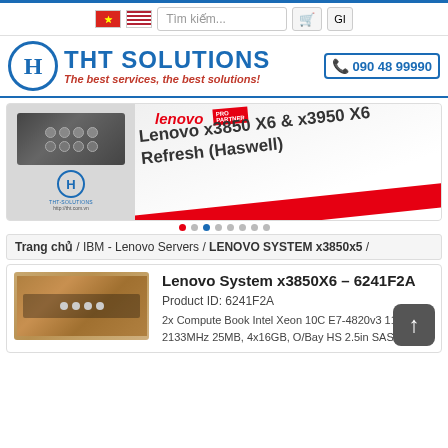THT Solutions website header
[Figure (screenshot): THT Solutions website screenshot with logo, search bar, Vietnamese flag, US flag, Lenovo x3850 X6 & x3950 X6 Refresh (Haswell) banner, and product listing]
Trang chủ / IBM - Lenovo Servers / LENOVO SYSTEM x3850x5 /
Lenovo System x3850X6 – 6241F2A
Product ID: 6241F2A
2x Compute Book Intel Xeon 10C E7-4820v3 115W 1.9GHz/25MB, 4x16GB, O/Bay HS 2.5in SAS/SATA